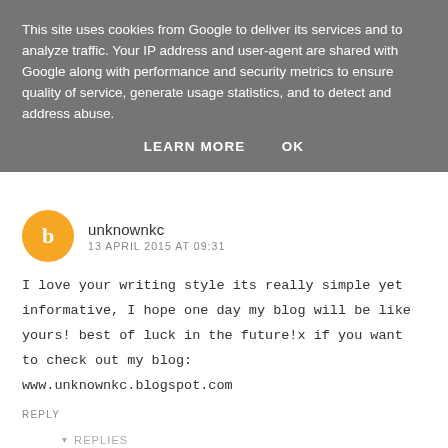This site uses cookies from Google to deliver its services and to analyze traffic. Your IP address and user-agent are shared with Google along with performance and security metrics to ensure quality of service, generate usage statistics, and to detect and address abuse.
LEARN MORE   OK
unknownkc
13 APRIL 2015 AT 09:31
I love your writing style its really simple yet informative, I hope one day my blog will be like yours! best of luck in the future!x if you want to check out my blog:
www.unknownkc.blogspot.com
REPLY
▾  REPLIES
Fleur Danielle
15 APRIL 2015 AT 15:48